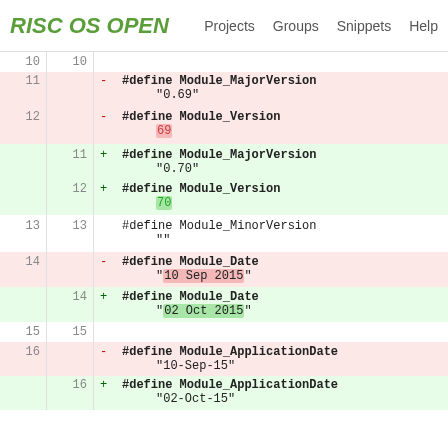RISC OS OPEN  Projects  Groups  Snippets  Help
| old | new |  | content |
| --- | --- | --- | --- |
| 10 | 10 |  |  |
| 11 |  | -  | #define Module_MajorVersion "0.69" |
| 12 |  | -  | #define Module_Version 69 |
|  | 11 | +  | #define Module_MajorVersion "0.70" |
|  | 12 | +  | #define Module_Version 70 |
| 13 | 13 |  | #define Module_MinorVersion "" |
| 14 |  | -  | #define Module_Date "10 Sep 2015" |
|  | 14 | +  | #define Module_Date "02 Oct 2015" |
| 15 | 15 |  |  |
| 16 |  | -  | #define Module_ApplicationDate "10-Sep-15" |
|  | 16 | +  | #define Module_ApplicationDate "02-Oct-15" |